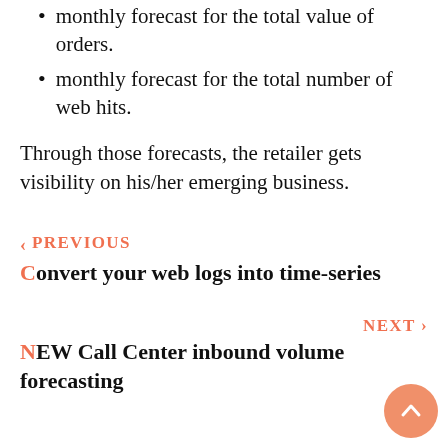monthly forecast for the total value of orders.
monthly forecast for the total number of web hits.
Through those forecasts, the retailer gets visibility on his/her emerging business.
‹ PREVIOUS
Convert your web logs into time-series
NEXT ›
NEW Call Center inbound volume forecasting